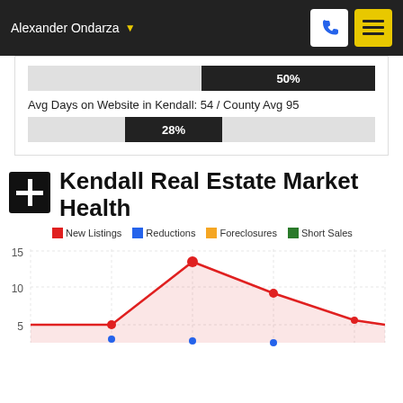Alexander Ondarza
[Figure (infographic): Two horizontal progress bars: one showing 50% (light gray bar with dark label block showing '50%'), and one showing 28% (light gray bar with dark label block showing '28%'). Between them is text: 'Avg Days on Website in Kendall: 54 / County Avg 95']
Avg Days on Website in Kendall: 54 / County Avg 95
Kendall Real Estate Market Health
New Listings   Reductions   Foreclosures   Short Sales
[Figure (line-chart): Partial line chart showing real estate market health data with y-axis values visible at 5, 10, 15. A red line with area fill shows a peak around 11, with data points visible. The chart is cut off at the bottom of the page.]